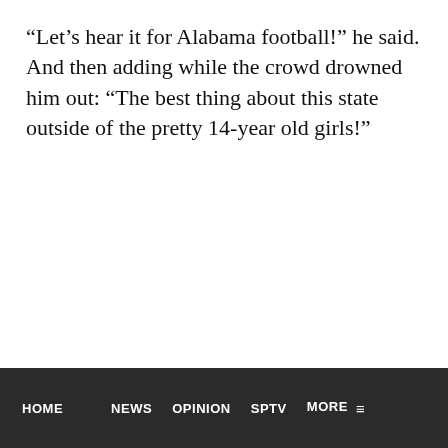“Let’s hear it for Alabama football!” he said. And then adding while the crowd drowned him out: “The best thing about this state outside of the pretty 14-year old girls!”
HOME   NEWS   OPINION   SPTV   MORE ☰